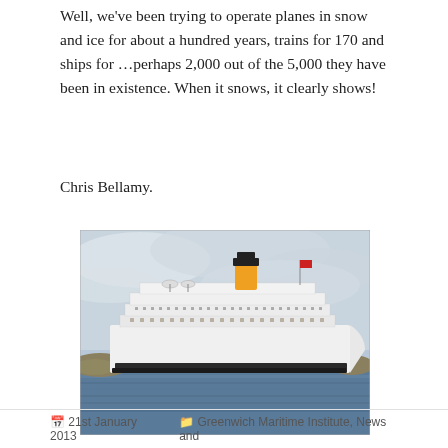Well, we've been trying to operate planes in snow and ice for about a hundred years, trains for 170 and ships for …perhaps 2,000 out of the 5,000 they have been in existence. When it snows, it clearly shows!
Chris Bellamy.
[Figure (photo): A large white cruise ship with a yellow and black funnel, flying a flag, sailing on calm blue water with a cloudy sky and coastline in background.]
21st January 2013   Greenwich Maritime Institute, News and